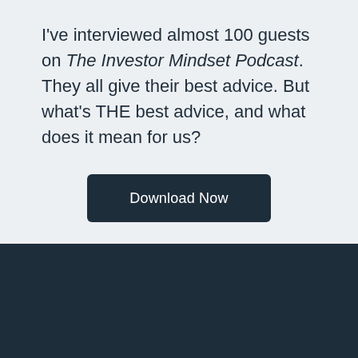I've interviewed almost 100 guests on The Investor Mindset Podcast. They all give their best advice. But what's THE best advice, and what does it mean for us?
[Figure (other): Download Now button — dark navy rounded rectangle with white text]
[Figure (logo): The Investor Mindset logo — teal/green mountain/arrow icon with white text on dark navy background]
© Copyright 2022 All rights reserved.